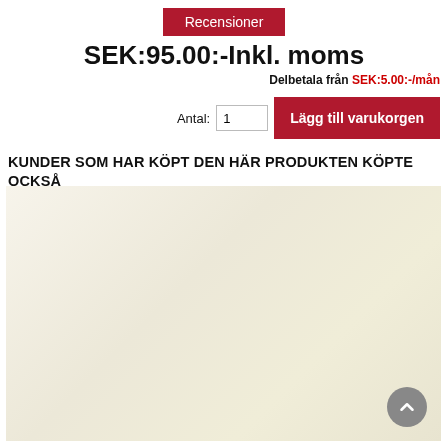Recensioner
SEK:95.00:-Inkl. moms
Delbetala från SEK:5.00:-/mån
Antal: 1  Lägg till varukorgen
KUNDER SOM HAR KÖPT DEN HÄR PRODUKTEN KÖPTE OCKSÅ
[Figure (photo): Light cream/off-white textured background area, product image placeholder]